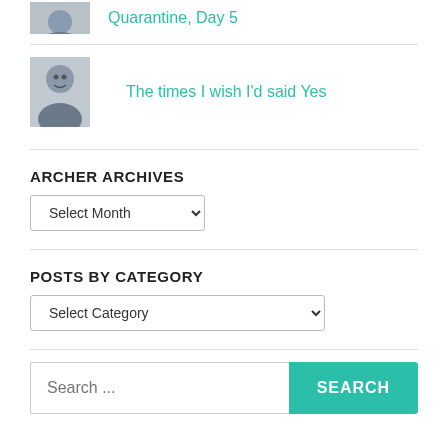[Figure (photo): Partial avatar of a person at top of page with teal link text cut off]
Quarantine, Day 5 (partial, cut off at top)
[Figure (photo): Avatar photo of a smiling person with short hair]
The times I wish I'd said Yes
ARCHER ARCHIVES
Select Month (dropdown)
POSTS BY CATEGORY
Select Category (dropdown)
Search ... SEARCH